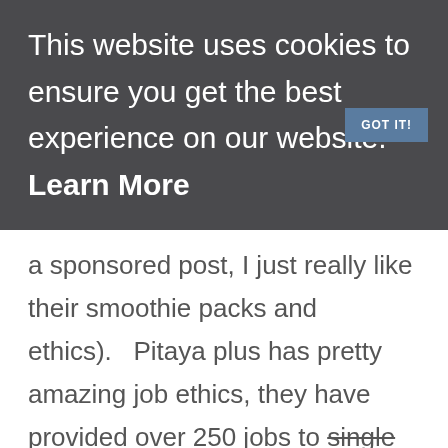This website uses cookies to ensure you get the best experience on our website. Learn More
GOT IT!
a sponsored post, I just really like their smoothie packs and ethics).   Pitaya plus has pretty amazing job ethics, they have provided over 250 jobs to single moms ↗, operate out of a solar-powered facility and well, my favorite, their products...